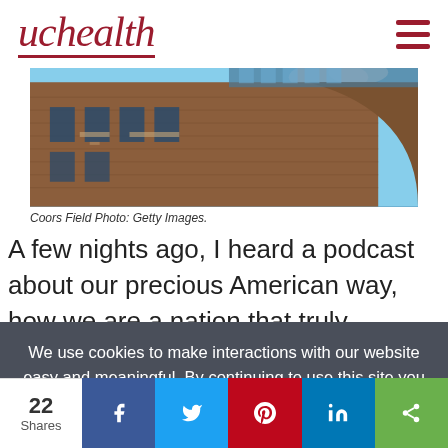uchealth
[Figure (photo): Exterior photo of Coors Field brick building facade with blue sky, shot from low angle showing curved brick walls and glass upper levels.]
Coors Field Photo: Getty Images.
A few nights ago, I heard a podcast about our precious American way, how we are a nation that truly embraces
We use cookies to make interactions with our website easy and meaningful. By continuing to use this site you are giving us your consent. Learn how cookies are used on our site.
Accept terms
22 Shares